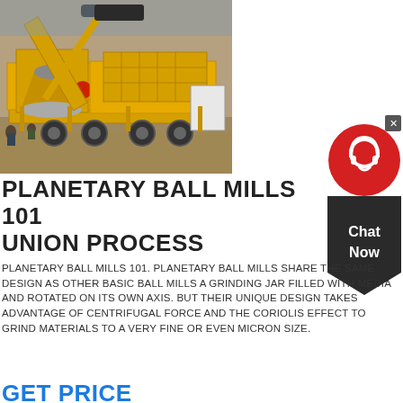[Figure (photo): Yellow mobile mining/crushing equipment on a trailer at an excavation/quarry site, with workers visible and earthen terrain in background.]
[Figure (other): Chat Now widget: red circle with headset icon on top, dark pentagon-shaped box with 'Chat Now' text below, close button (x) in top right corner.]
PLANETARY BALL MILLS 101 UNION PROCESS
PLANETARY BALL MILLS 101. PLANETARY BALL MILLS SHARE THE SAME DESIGN AS OTHER BASIC BALL MILLS A GRINDING JAR FILLED WITH MEDIA AND ROTATED ON ITS OWN AXIS. BUT THEIR UNIQUE DESIGN TAKES ADVANTAGE OF CENTRIFUGAL FORCE AND THE CORIOLIS EFFECT TO GRIND MATERIALS TO A VERY FINE OR EVEN MICRON SIZE.
GET PRICE